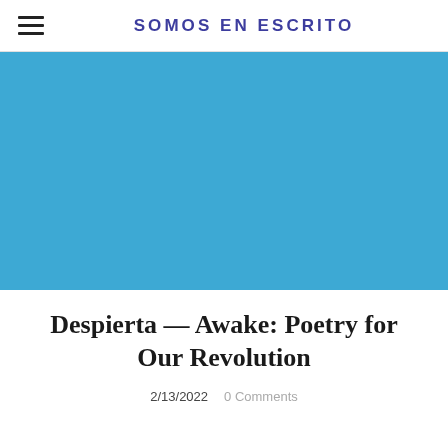SOMOS EN ESCRITO
[Figure (photo): Solid blue/teal hero image banner]
Despierta — Awake: Poetry for Our Revolution
2/13/2022   0 Comments